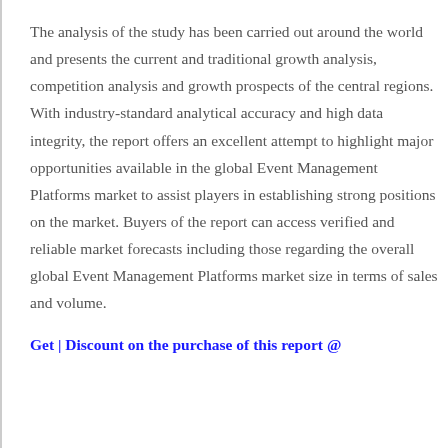The analysis of the study has been carried out around the world and presents the current and traditional growth analysis, competition analysis and growth prospects of the central regions. With industry-standard analytical accuracy and high data integrity, the report offers an excellent attempt to highlight major opportunities available in the global Event Management Platforms market to assist players in establishing strong positions on the market. Buyers of the report can access verified and reliable market forecasts including those regarding the overall global Event Management Platforms market size in terms of sales and volume.
Get | Discount on the purchase of this report @